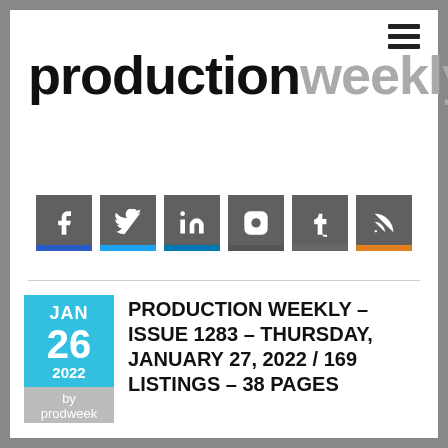production weekly
[Figure (logo): Social media icon buttons: Facebook, Twitter, LinkedIn, Instagram, Tumblr, RSS]
PRODUCTION WEEKLY – ISSUE 1283 – THURSDAY, JANUARY 27, 2022 / 169 LISTINGS – 38 PAGES
JAN 26 2022 by prodweek